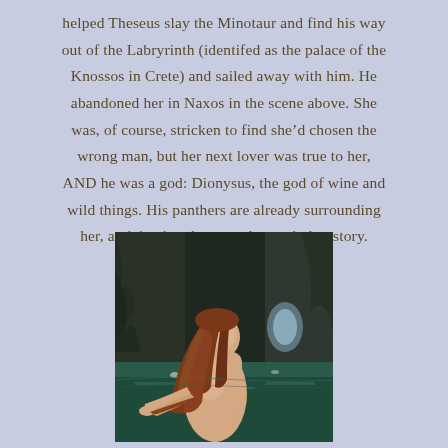helped Theseus slay the Minotaur and find his way out of the Labryrinth (identifed as the palace of the Knossos in Crete) and sailed away with him. He abandoned her in Naxos in the scene above. She was, of course, stricken to find she’d chosen the wrong man, but her next lover was true to her, AND he was a god: Dionysus, the god of wine and wild things. His panthers are already surrounding her, anticipating the next chapter in her story.
[Figure (illustration): Pre-Raphaelite style painting of a mermaid or nude female figure with long auburn hair, seated near dark rocky cliffs and a green sea, viewed from behind at a slight angle, with an arched cave opening visible in the background.]